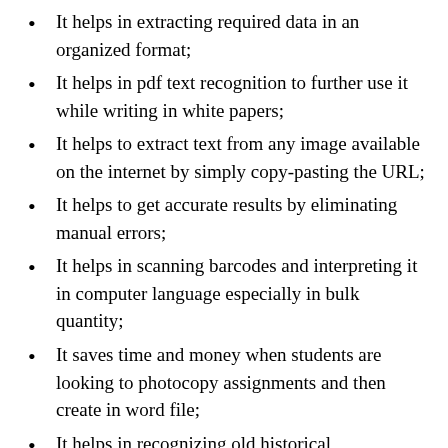It helps in extracting required data in an organized format;
It helps in pdf text recognition to further use it while writing in white papers;
It helps to extract text from any image available on the internet by simply copy-pasting the URL;
It helps to get accurate results by eliminating manual errors;
It helps in scanning barcodes and interpreting it in computer language especially in bulk quantity;
It saves time and money when students are looking to photocopy assignments and then create in word file;
It helps in recognizing old historical